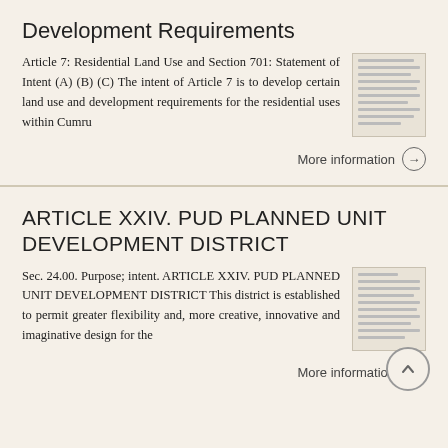Development Requirements
Article 7: Residential Land Use and Section 701: Statement of Intent (A) (B) (C) The intent of Article 7 is to develop certain land use and development requirements for the residential uses within Cumru
More information →
ARTICLE XXIV. PUD PLANNED UNIT DEVELOPMENT DISTRICT
Sec. 24.00. Purpose; intent. ARTICLE XXIV. PUD PLANNED UNIT DEVELOPMENT DISTRICT This district is established to permit greater flexibility and, more creative, innovative and imaginative design for the
More information →